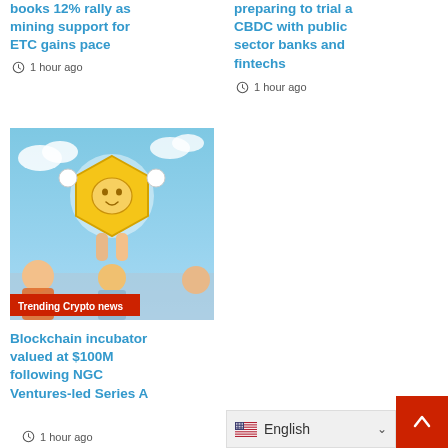books 12% rally as mining support for ETC gains pace
1 hour ago
preparing to trial a CBDC with public sector banks and fintechs
1 hour ago
[Figure (illustration): Cartoon illustration of a large golden cryptocurrency coin character with face, being held up by people, with blue sky background. Red badge overlay reads 'Trending Crypto news'.]
Blockchain incubator valued at $100M following NGC Ventures-led Series A
1 hour ago